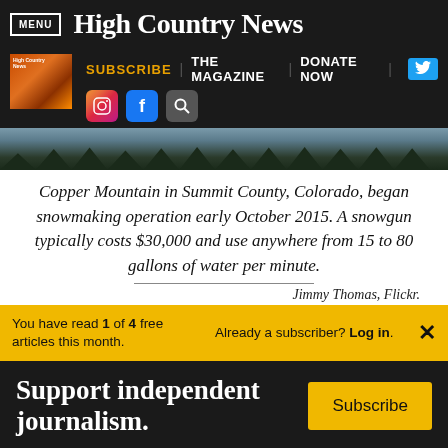MENU | High Country News
[Figure (screenshot): Navigation bar with magazine cover thumbnail, SUBSCRIBE, THE MAGAZINE, DONATE NOW links, Twitter button, Instagram icon, Facebook icon, and search icon]
[Figure (photo): Winter landscape with snow-covered trees at Copper Mountain]
Copper Mountain in Summit County, Colorado, began snowmaking operation early October 2015. A snowgun typically costs $30,000 and use anywhere from 15 to 80 gallons of water per minute.
Jimmy Thomas, Flickr.
You have read 1 of 4 free articles this month. Already a subscriber? Log in.
Support independent journalism. Subscribe